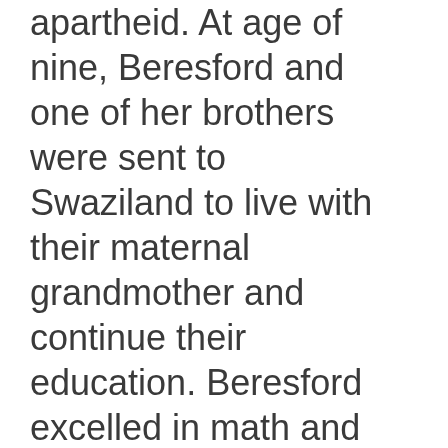apartheid. At age of nine, Beresford and one of her brothers were sent to Swaziland to live with their maternal grandmother and continue their education. Beresford excelled in math and science and in 1984 she graduated with a Bachelor Degree in Biology and a concurrent Diploma in